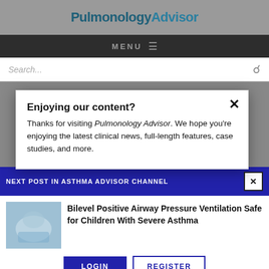PulmonologyAdvisor
MENU
Search...
Enjoying our content?
Thanks for visiting Pulmonology Advisor. We hope you’re enjoying the latest clinical news, full-length features, case studies, and more.
NEXT POST IN ASTHMA ADVISOR CHANNEL
Bilevel Positive Airway Pressure Ventilation Safe for Children With Severe Asthma
LOGIN
REGISTER